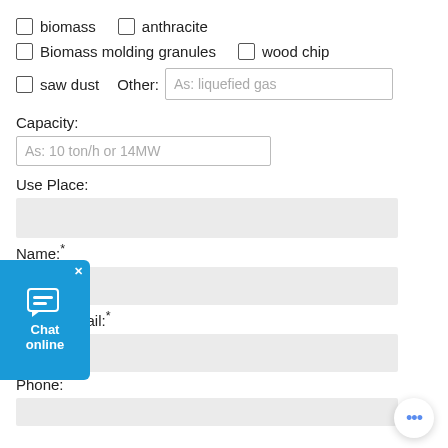☐ biomass  ☐ anthracite
☐ Biomass molding granules  ☐ wood chip
☐ saw dust  Other: As: liquefied gas
Capacity:
As: 10 ton/h or 14MW
Use Place:
Name:*
Email:*
Phone: